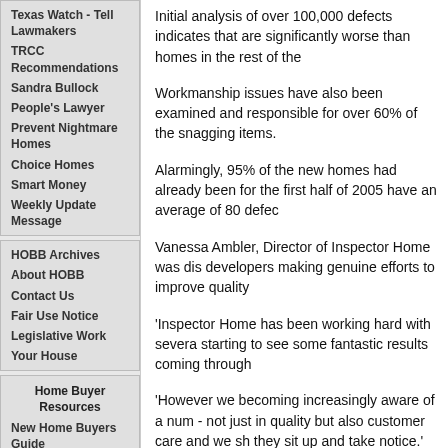Texas Watch - Tell Lawmakers
TRCC Recommendations
Sandra Bullock
People's Lawyer
Prevent Nightmare Homes
Choice Homes
Smart Money
Weekly Update Message
HOBB Archives
About HOBB
Contact Us
Fair Use Notice
Legislative Work
Your House
Home Buyer Resources
New Home Buyers Guide
Message to Homebuilders
Home Warranties
Initial analysis of over 100,000 defects indicates that are significantly worse than homes in the rest of the
Workmanship issues have also been examined and responsible for over 60% of the snagging items.
Alarmingly, 95% of the new homes had already been for the first half of 2005 have an average of 80 defec
Vanessa Ambler, Director of Inspector Home was dis developers making genuine efforts to improve quality
'Inspector Home has been working hard with severa starting to see some fantastic results coming through
'However we becoming increasingly aware of a num - not just in quality but also customer care and we sh they sit up and take notice.' Inspector Home took a p continues to fight for consumer rights for new home
She wants to see the establishment of a formal regu standards and league tables of property developers.
'It is only right that those developers with high standa